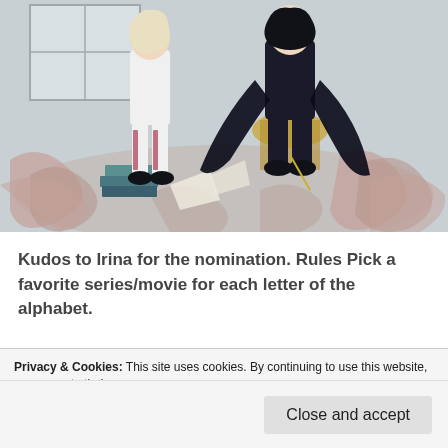[Figure (illustration): Anime-style illustration showing two characters in a room. One character dressed in dark clothing sits on a chair/throne, the other in light clothing is nearby. Books are stacked on the floor, decorative swirling patterns on the floor, a window in the background. Monochromatic muted color palette.]
Kudos to Irina for the nomination. Rules Pick a favorite series/movie for each letter of the alphabet.
Privacy & Cookies: This site uses cookies. By continuing to use this website, you agree to their use.
To find out more, including how to control cookies, see here: Cookie Policy
Close and accept
Continue Reading →